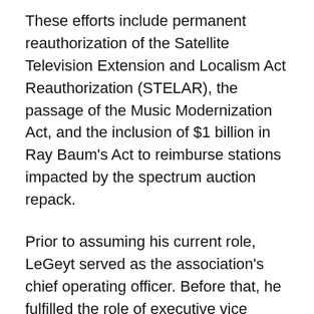These efforts include permanent reauthorization of the Satellite Television Extension and Localism Act Reauthorization (STELAR), the passage of the Music Modernization Act, and the inclusion of $1 billion in Ray Baum's Act to reimburse stations impacted by the spectrum auction repack.
Prior to assuming his current role, LeGeyt served as the association's chief operating officer. Before that, he fulfilled the role of executive vice president of Government Relations. LeGeyt sits on the Board of Directors of the NAB Leadership